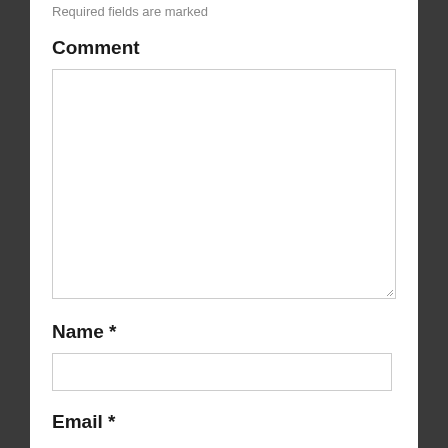Required fields are marked
Comment
[Figure (other): Empty comment textarea input box]
Name *
[Figure (other): Empty name text input box]
Email *